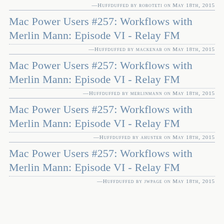—Huffduffed by roboteti on May 18th, 2015
Mac Power Users #257: Workflows with Merlin Mann: Episode VI - Relay FM
—Huffduffed by mackenab on May 18th, 2015
Mac Power Users #257: Workflows with Merlin Mann: Episode VI - Relay FM
—Huffduffed by merlinmann on May 18th, 2015
Mac Power Users #257: Workflows with Merlin Mann: Episode VI - Relay FM
—Huffduffed by ahuster on May 18th, 2015
Mac Power Users #257: Workflows with Merlin Mann: Episode VI - Relay FM
—Huffduffed by jwpage on May 18th, 2015